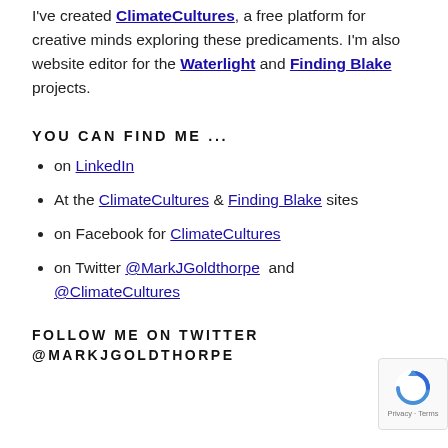I've created ClimateCultures, a free platform for creative minds exploring these predicaments. I'm also website editor for the Waterlight and Finding Blake projects.
YOU CAN FIND ME ...
on LinkedIn
At the ClimateCultures & Finding Blake sites
on Facebook for ClimateCultures
on Twitter @MarkJGoldthorpe  and @ClimateCultures
FOLLOW ME ON TWITTER @MARKJGOLDTHORPE
[Figure (other): reCAPTCHA badge with Google logo and Privacy - Terms text]